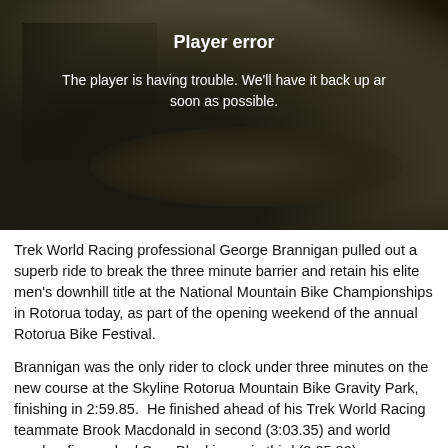[Figure (screenshot): Video player error screen showing a dark mountain bike trail background image with 'Player error' title and message text overlaid]
Player error
The player is having trouble. We'll have it back up and running as soon as possible.
Trek World Racing professional George Brannigan pulled out a superb ride to break the three minute barrier and retain his elite men's downhill title at the National Mountain Bike Championships in Rotorua today, as part of the opening weekend of the annual Rotorua Bike Festival.
Brannigan was the only rider to clock under three minutes on the new course at the Skyline Rotorua Mountain Bike Gravity Park, finishing in 2:59.85.  He finished ahead of his Trek World Racing teammate Brook Macdonald in second (3:03.35) and world number five ranked Sam Blenkinsop in third (3:05.82).